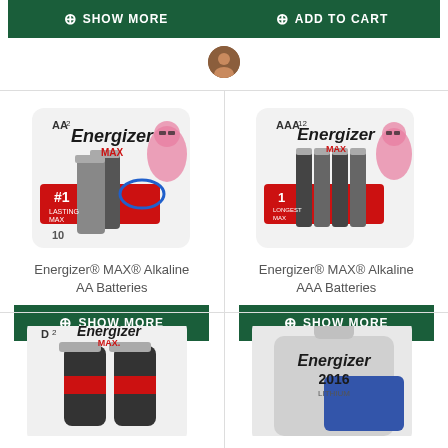[Figure (screenshot): SHOW MORE green button (top left)]
[Figure (screenshot): ADD TO CART green button (top right)]
[Figure (photo): Energizer MAX Alkaline AA Batteries package (AA2)]
Energizer® MAX® Alkaline AA Batteries
[Figure (screenshot): SHOW MORE green button (middle left)]
[Figure (photo): Energizer MAX Alkaline AAA Batteries package (AAA12)]
Energizer® MAX® Alkaline AAA Batteries
[Figure (screenshot): SHOW MORE green button (middle right)]
[Figure (photo): Energizer MAX D2 battery package (bottom left, partially shown)]
[Figure (photo): Energizer 2016 Lithium battery package (bottom right, partially shown)]